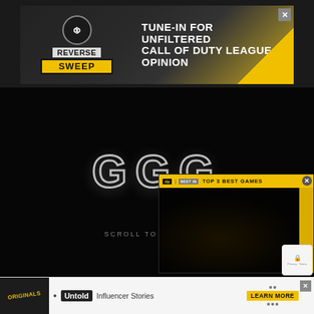[Figure (screenshot): Advertisement banner for 'Reverse Sweep' show - black and yellow background with text 'TUNE-IN FOR UNFILTERED CALL OF DUTY LEAGUE OPINION'. Has a close button (X) in top right.]
[Figure (screenshot): Dark screenshot of a gaming video/stream showing large metallic 'GGG' letters on a black background. Label 'SCROLL TO CONTINUE' visible at bottom.]
[Figure (screenshot): Mini video overlay in bottom-right corner with yellow header bar showing 'TOP 3 BEST GAMES' with a logo and close button. Dark video content below showing gaming footage with yellow bar on right side.]
In orde... instru...
[Figure (screenshot): Bottom advertisement banner showing 'Originals' logo on dark background, bullet point, 'Untold' in box, 'Influencer Stories' text, and 'LEARN MORE' button in yellow. Has close button (X).]